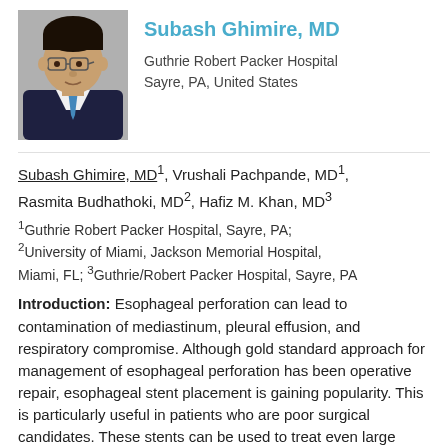[Figure (photo): Headshot photo of Subash Ghimire, MD in professional attire]
Subash Ghimire, MD
Guthrie Robert Packer Hospital
Sayre, PA, United States
Subash Ghimire, MD1, Vrushali Pachpande, MD1, Rasmita Budhathoki, MD2, Hafiz M. Khan, MD3
1Guthrie Robert Packer Hospital, Sayre, PA; 2University of Miami, Jackson Memorial Hospital, Miami, FL; 3Guthrie/Robert Packer Hospital, Sayre, PA
Introduction: Esophageal perforation can lead to contamination of mediastinum, pleural effusion, and respiratory compromise. Although gold standard approach for management of esophageal perforation has been operative repair, esophageal stent placement is gaining popularity. This is particularly useful in patients who are poor surgical candidates. These stents can be used to treat even large esophageal defects. We describe the case of a 62-year old male who underwent esophagoal stent